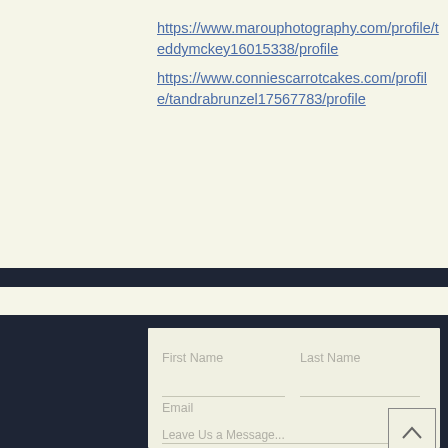https://www.marouphotography.com/profile/teddymckey16015338/profile https://www.conniescarrotcakes.com/profile/tandrabrunzel17567783/profile
[Figure (screenshot): Contact form with fields: First Name, Last Name, Email, Leave Us a Message, and a scroll-to-top button]